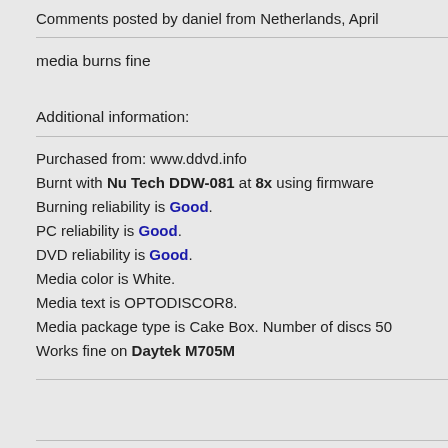Comments posted by daniel from Netherlands, April
media burns fine
Additional information:
Purchased from: www.ddvd.info
Burnt with Nu Tech DDW-081 at 8x using firmware
Burning reliability is Good.
PC reliability is Good.
DVD reliability is Good.
Media color is White.
Media text is OPTODISCOR8.
Media package type is Cake Box. Number of discs 50
Works fine on Daytek M705M
Comments posted by Eero from Finland, April 13, 20